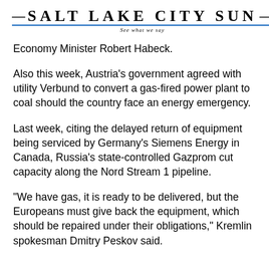Salt Lake City Sun — See what we say
Economy Minister Robert Habeck.
Also this week, Austria's government agreed with utility Verbund to convert a gas-fired power plant to coal should the country face an energy emergency.
Last week, citing the delayed return of equipment being serviced by Germany's Siemens Energy in Canada, Russia's state-controlled Gazprom cut capacity along the Nord Stream 1 pipeline.
"We have gas, it is ready to be delivered, but the Europeans must give back the equipment, which should be repaired under their obligations," Kremlin spokesman Dmitry Peskov said.